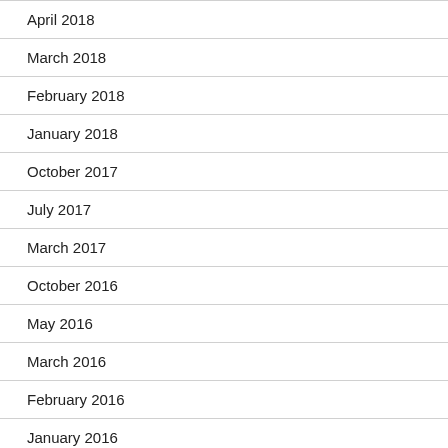April 2018
March 2018
February 2018
January 2018
October 2017
July 2017
March 2017
October 2016
May 2016
March 2016
February 2016
January 2016
November 2015